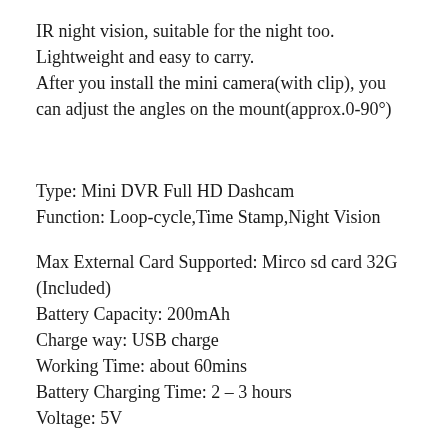IR night vision, suitable for the night too.
Lightweight and easy to carry.
After you install the mini camera(with clip), you can adjust the angles on the mount(approx.0-90°)
Type: Mini DVR Full HD Dashcam
Function: Loop-cycle,Time Stamp,Night Vision
Max External Card Supported: Mirco sd card 32G (Included)
Battery Capacity: 200mAh
Charge way: USB charge
Working Time: about 60mins
Battery Charging Time: 2 – 3 hours
Voltage: 5V